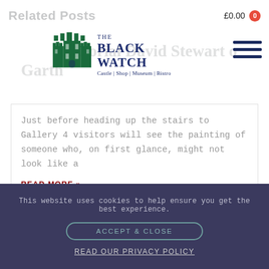Related Posts
£0.00 0
[Figure (logo): The Black Watch Castle | Shop | Museum | Bistro logo with green castle illustration and dark blue text]
Memorial David Stewart of Garth
Just before heading up the stairs to Gallery 4 visitors will see the painting of someone who, on first glance, might not look like a
READ MORE »
November 27, 2019  •  No Comments
This website uses cookies to help ensure you get the best experience.
ACCEPT & CLOSE
READ OUR PRIVACY POLICY